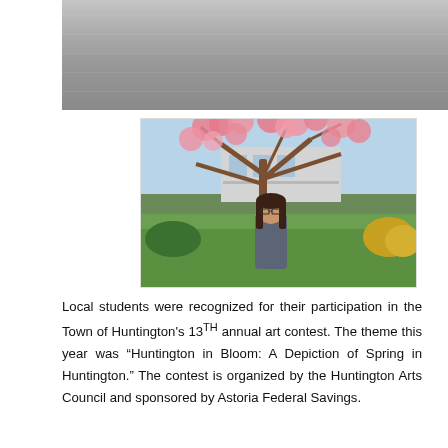[Figure (photo): Partial view of a concrete wall or ledge, top portion cropped]
[Figure (photo): A young woman with long dark hair and glasses standing in front of a blooming cherry tree with pink flowers, green lawn, shrubs, and a building in the background]
Local students were recognized for their participation in the Town of Huntington's 13TH annual art contest. The theme this year was “Huntington in Bloom: A Depiction of Spring in Huntington.” The contest is organized by the Huntington Arts Council and sponsored by Astoria Federal Savings.